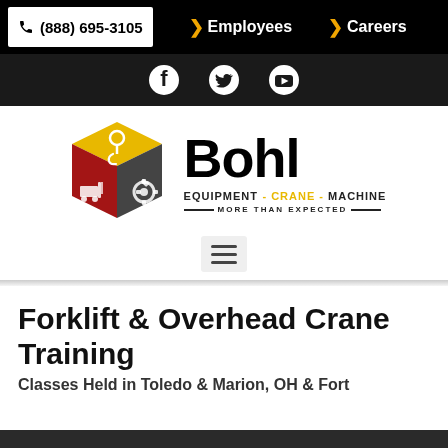(888) 695-3105  Employees  Careers
[Figure (infographic): Social media icons: Facebook, Twitter, YouTube on dark bar]
[Figure (logo): Bohl Equipment - Crane - Machine logo with cube graphic and text MORE THAN EXPECTED]
[Figure (infographic): Hamburger menu button (three horizontal lines)]
Forklift & Overhead Crane Training
Classes Held in Toledo & Marion, OH & Fort